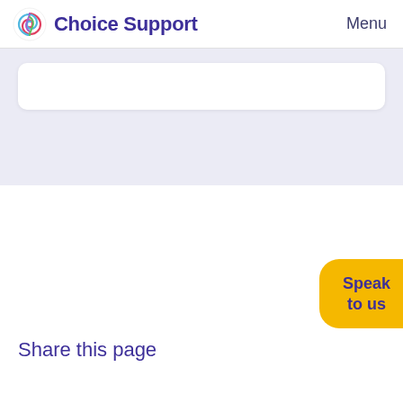Choice Support | Menu
[Figure (other): Search input box, white rounded rectangle on light purple/grey background]
[Figure (other): Yellow pill-shaped button partially visible on right edge reading 'Speak to us']
Share this page